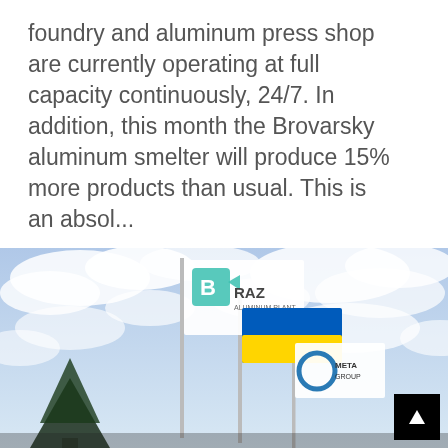foundry and aluminum press shop are currently operating at full capacity continuously, 24/7. In addition, this month the Brovarsky aluminum smelter will produce 15% more products than usual. This is an absol...
[Figure (photo): Photograph taken from below showing three flags on flag poles against a partly cloudy blue sky. The top flag is white with a teal/green letter B logo and the text 'BRAZ ALUMINUM PLANT'. The middle flag is the Ukrainian flag (blue and yellow). The bottom flag is white with a circular logo and text 'METAGROUP'. A dark conifer tree is visible at lower left.]